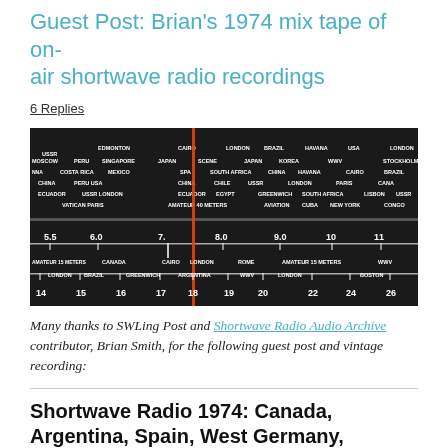Guest Post: Brian's 1974 mix tape of on-air shortwave radio recordings
6 Replies
[Figure (photo): Close-up photograph of a shortwave radio dial/tuner showing frequency bands from 5.5 to 26 MHz with city/country labels such as Moscow, Edmonton, Cairo, London, Brazil, Havana, USA, Singapore, Japan, Korea, Costa Rica, Mexico, South Africa, China, Peru, Ecuador, UUSR, Chile, Egypt, Greenwich, Vatican, Paris, Amateur, Aviation, New York, Canada, Rome, and others. An orange/red tuning needle is visible around 17-18 MHz. The dial has two rows: upper showing 5.5 through 11 MHz, lower showing 14 through 26 MHz.]
Many thanks to SWLing Post and Shortwave Radio Audio Archive contributor, Brian Smith, for the following guest post and vintage recording:
Shortwave Radio 1974: Canada, Argentina, Spain, West Germany, Albania, utility